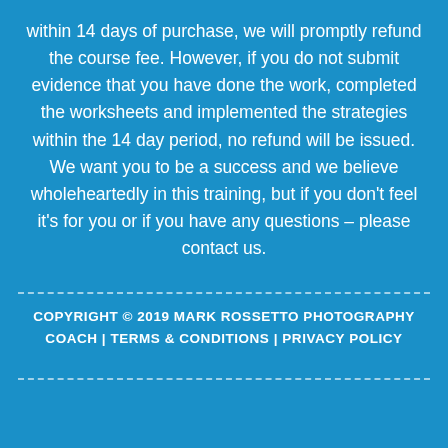within 14 days of purchase, we will promptly refund the course fee. However, if you do not submit evidence that you have done the work, completed the worksheets and implemented the strategies within the 14 day period, no refund will be issued. We want you to be a success and we believe wholeheartedly in this training, but if you don’t feel it’s for you or if you have any questions – please contact us.
COPYRIGHT © 2019 MARK ROSSETTO PHOTOGRAPHY COACH | TERMS & CONDITIONS | PRIVACY POLICY